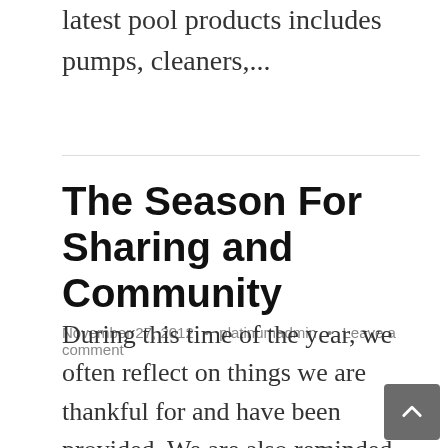latest pool products includes pumps, cleaners,...
The Season For Sharing and Community
November 27, 2012 • platinumadmin • Leave a comment
During this time of the year, we often reflect on things we are thankful for and have been provided. We are also reminded that there are others less fortunate that could use a helping hand.  At Platinum